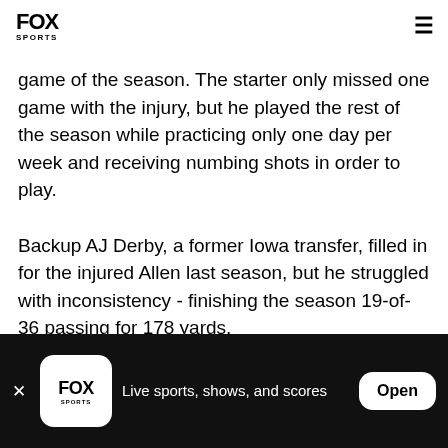FOX SPORTS
game of the season. The starter only missed one game with the injury, but he played the rest of the season while practicing only one day per week and receiving numbing shots in order to play.
Backup AJ Derby, a former Iowa transfer, filled in for the injured Allen last season, but he struggled with inconsistency - finishing the season 19-of-36 passing for 178 yards.
Live sports, shows, and scores  Open